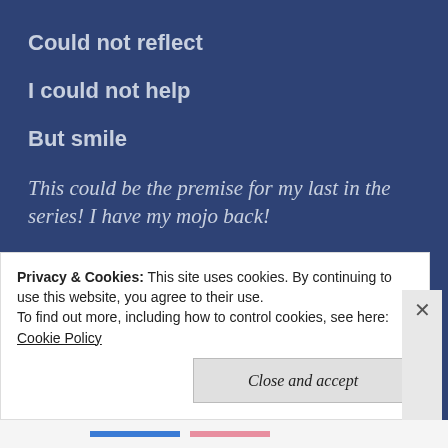Could not reflect
I could not help
But smile
This could be the premise for my last in the series! I have my mojo back!
John was suddenly interrupted from his thoughts by a knock on the door which rather startled him. He
Privacy & Cookies: This site uses cookies. By continuing to use this website, you agree to their use. To find out more, including how to control cookies, see here: Cookie Policy
Close and accept